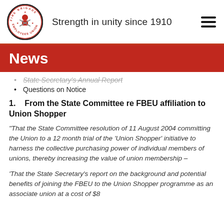Strength in unity since 1910
News
State Secretary's Annual Report
Questions on Notice
1.    From the State Committee re FBEU affiliation to Union Shopper
"That the State Committee resolution of 11 August 2004 committing the Union to a 12 month trial of the 'Union Shopper' initiative to harness the collective purchasing power of individual members of unions, thereby increasing the value of union membership –
'That the State Secretary's report on the background and potential benefits of joining the FBEU to the Union Shopper programme as an associate union at a cost of $8...